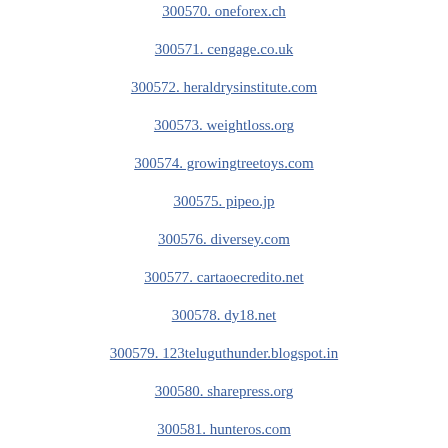300570. oneforex.ch
300571. cengage.co.uk
300572. heraldrysinstitute.com
300573. weightloss.org
300574. growingtreetoys.com
300575. pipeo.jp
300576. diversey.com
300577. cartaoecredito.net
300578. dy18.net
300579. 123teluguthunder.blogspot.in
300580. sharepress.org
300581. hunteros.com
300582. 78meitu.com
300583. landegy.com
300584. dassnagar.net